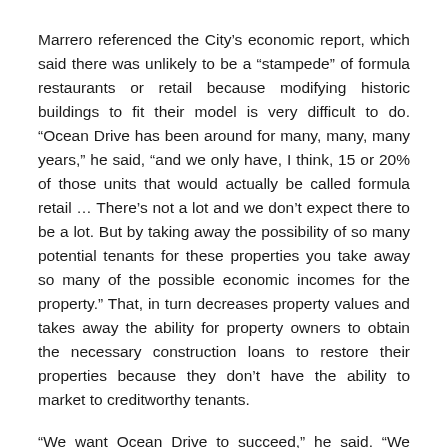Marrero referenced the City's economic report, which said there was unlikely to be a “stampede” of formula restaurants or retail because modifying historic buildings to fit their model is very difficult to do. “Ocean Drive has been around for many, many, many years,” he said, “and we only have, I think, 15 or 20% of those units that would actually be called formula retail … There’s not a lot and we don’t expect there to be a lot. But by taking away the possibility of so many potential tenants for these properties you take away so many of the possible economic incomes for the property.” That, in turn decreases property values and takes away the ability for property owners to obtain the necessary construction loans to restore their properties because they don’t have the ability to market to creditworthy tenants.
“We want Ocean Drive to succeed,” he said. “We don’t